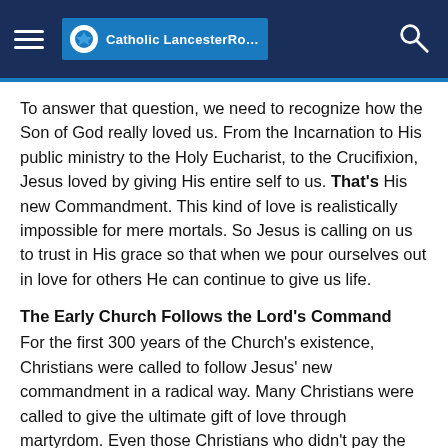Catholic LancesterRoman
To answer that question, we need to recognize how the Son of God really loved us. From the Incarnation to His public ministry to the Holy Eucharist, to the Crucifixion, Jesus loved by giving His entire self to us. That's His new Commandment. This kind of love is realistically impossible for mere mortals. So Jesus is calling on us to trust in His grace so that when we pour ourselves out in love for others He can continue to give us life.
The Early Church Follows the Lord's Command
For the first 300 years of the Church's existence, Christians were called to follow Jesus' new commandment in a radical way. Many Christians were called to give the ultimate gift of love through martyrdom. Even those Christians who didn't pay the ultimate price with their life practiced their faith every day knowing that they could be called to martyrdom